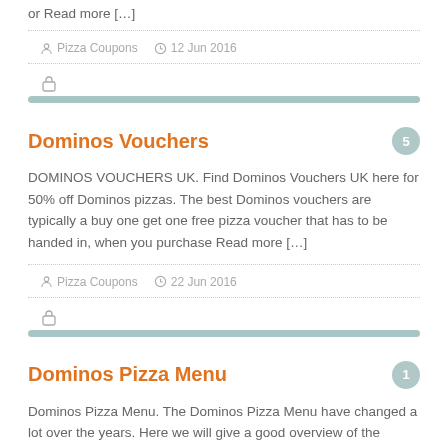or Read more […]
Pizza Coupons   12 Jun 2016
Dominos Vouchers
DOMINOS VOUCHERS UK. Find Dominos Vouchers UK here for 50% off Dominos pizzas. The best Dominos vouchers are typically a buy one get one free pizza voucher that has to be handed in, when you purchase Read more […]
Pizza Coupons   22 Jun 2016
Dominos Pizza Menu
Dominos Pizza Menu. The Dominos Pizza Menu have changed a lot over the years. Here we will give a good overview of the Dominos Pizza Menu and why it has changed. We have also added a complete price Read more…